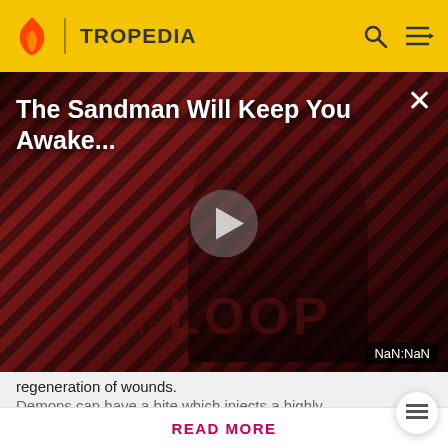TROPEDIA
[Figure (screenshot): Tropedia video banner with title 'The Sandman Will Keep You Awake...' over a dark red diagonal-striped background featuring a figure in black; a play button in the center; 'THE LOOP' text watermark at bottom; timer showing NaN:NaN]
regeneration of wounds.
Demons can have a bite which injects a highly
Before making a single edit, Tropedia EXPECTS our site policy and manual of style to be followed. Failure to do so may
READ MORE